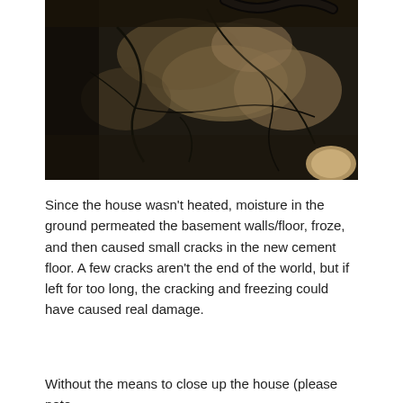[Figure (photo): A dark photograph showing a cracked and damp cement/concrete floor or surface in a basement. The surface appears dark and wet with lighter areas showing moisture patterns or efflorescence. Cracks are visible running across the concrete. A curved dark object (possibly a pipe or hose) is partially visible at the top. A light-colored rounded object is visible at the lower right corner.]
Since the house wasn't heated, moisture in the ground permeated the basement walls/floor, froze, and then caused small cracks in the new cement floor. A few cracks aren't the end of the world, but if left for too long, the cracking and freezing could have caused real damage.
Without the means to close up the house (please note